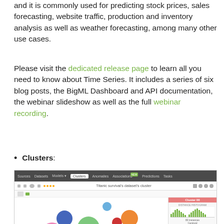and it is commonly used for predicting stock prices, sales forecasting, website traffic, production and inventory analysis as well as weather forecasting, among many other use cases.
Please visit the dedicated release page to learn all you need to know about Time Series. It includes a series of six blog posts, the BigML Dashboard and API documentation, the webinar slideshow as well as the full webinar recording.
Clusters:
[Figure (screenshot): BigML Dashboard screenshot showing the Clusters section with a bubble/cluster visualization of the Titanic survival dataset's cluster, alongside a sidebar panel showing Cluster 00 with a distance histogram and centroid details including Age: 22.61, ClassDes: 3rd Class, Fare today: $20.81, and a partially visible Group field.]